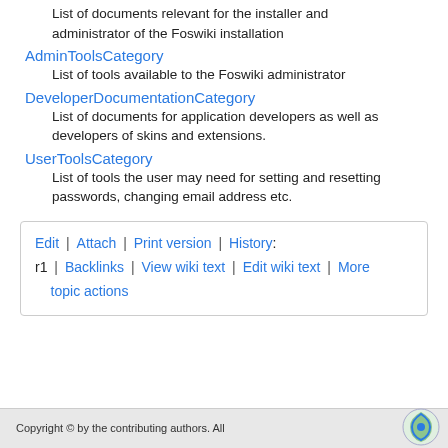List of documents relevant for the installer and administrator of the Foswiki installation
AdminToolsCategory
List of tools available to the Foswiki administrator
DeveloperDocumentationCategory
List of documents for application developers as well as developers of skins and extensions.
UserToolsCategory
List of tools the user may need for setting and resetting passwords, changing email address etc.
Edit | Attach | Print version | History: r1 | Backlinks | View wiki text | Edit wiki text | More topic actions
Copyright © by the contributing authors. All